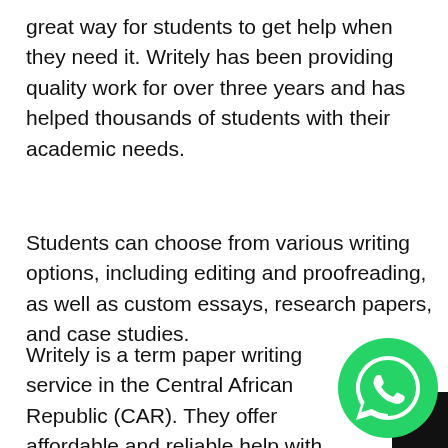great way for students to get help when they need it. Writely has been providing quality work for over three years and has helped thousands of students with their academic needs.
Students can choose from various writing options, including editing and proofreading, as well as custom essays, research papers, and case studies.
Writely is a term paper writing service in the Central African Republic (CAR). They offer affordable and reliable help with your assignments. With Writely, you can get assistance from a team of professional writers who will assist you with your homework for an affordable p...
[Figure (logo): WhatsApp icon — green circle with white phone handset, partially overlapping a black rectangle in the bottom-right corner]